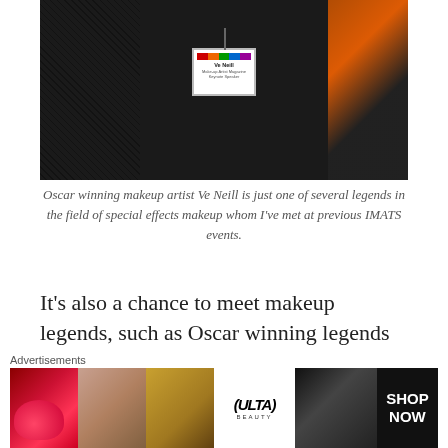[Figure (photo): A person wearing black clothing with a conference badge lanyard reading 'Ve Neill' at an IMATS event. Orange graphic visible on right side.]
Oscar winning makeup artist Ve Neill is just one of several legends in the field of special effects makeup whom I've met at previous IMATS events.
It’s also a chance to meet makeup legends, such as Oscar winning legends such as Rick Baker (“Star Wars,” “King Kong,” “Ed Wood”) Michael Westmore (“Rocky,” “Mask” and various “Star Trek” TV series) and Ve Neill
[Figure (photo): Ulta Beauty advertisement banner showing makeup imagery including lips, brush, eyes, and Ulta logo with SHOP NOW text.]